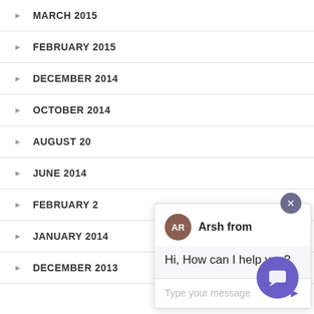MARCH 2015
FEBRUARY 2015
DECEMBER 2014
OCTOBER 2014
AUGUST 20
JUNE 2014
FEBRUARY 2
JANUARY 2014
DECEMBER 2013
[Figure (screenshot): Live chat widget popup with agent AR (Arsh) saying 'Hi, How can I help you?' and a message input field. A close button (x) is shown at top right. A purple chat launcher button is in the bottom right corner.]